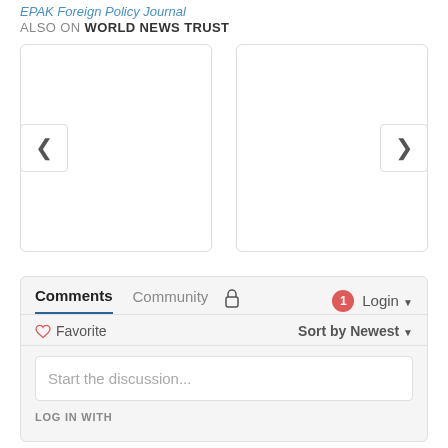EPAK Foreign Policy Journal
ALSO ON WORLD NEWS TRUST
[Figure (other): Two content cards in a carousel with left and right navigation arrows]
Comments  Community  Login
Favorite  Sort by Newest
Start the discussion...
LOG IN WITH